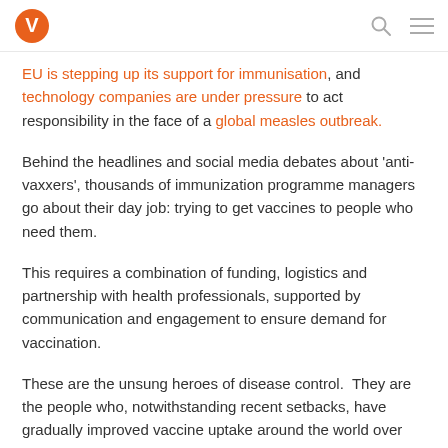[Logo] [Search icon] [Menu icon]
EU is stepping up its support for immunisation, and technology companies are under pressure to act responsibility in the face of a global measles outbreak.
Behind the headlines and social media debates about 'anti-vaxxers', thousands of immunization programme managers go about their day job: trying to get vaccines to people who need them.
This requires a combination of funding, logistics and partnership with health professionals, supported by communication and engagement to ensure demand for vaccination.
These are the unsung heroes of disease control. They are the people who, notwithstanding recent setbacks, have gradually improved vaccine uptake around the world over